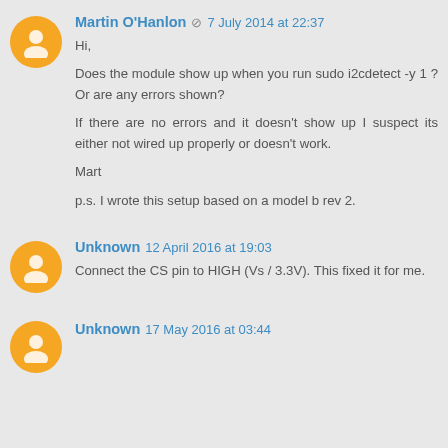Martin O'Hanlon  7 July 2014 at 22:37
Hi,

Does the module show up when you run sudo i2cdetect -y 1 ? Or are any errors shown?

If there are no errors and it doesn't show up I suspect its either not wired up properly or doesn't work.

Mart

p.s. I wrote this setup based on a model b rev 2.
Unknown  12 April 2016 at 19:03
Connect the CS pin to HIGH (Vs / 3.3V). This fixed it for me.
Unknown  17 May 2016 at 03:44